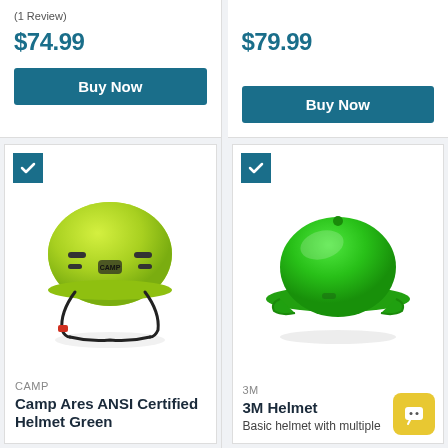(1 Review)
$74.99
Buy Now
$79.99
Buy Now
[Figure (photo): Yellow-green CAMP climbing/safety helmet with black chin strap and ventilation slots, shown on white background]
CAMP
Camp Ares ANSI Certified Helmet Green
[Figure (photo): Green hard hat / construction safety helmet, full brim style, shown on white background]
3M
3M Helmet
Basic helmet with multiple